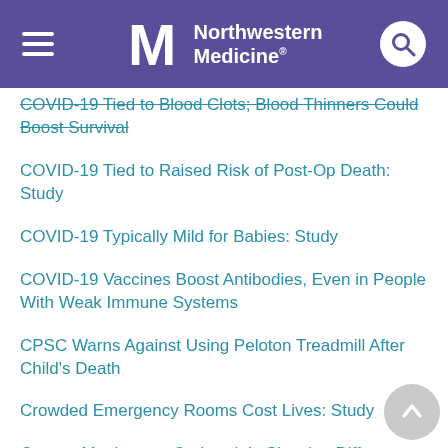Northwestern Medicine
COVID-19 Tied to Blood Clots; Blood Thinners Could Boost Survival
COVID-19 Tied to Raised Risk of Post-Op Death: Study
COVID-19 Typically Mild for Babies: Study
COVID-19 Vaccines Boost Antibodies, Even in People With Weak Immune Systems
CPSC Warns Against Using Peloton Treadmill After Child's Death
Crowded Emergency Rooms Cost Lives: Study
Current Monkeypox Outbreak Is Showing Different Symptoms
Cyberbullies and Their Victims Can Both Develop PTSD